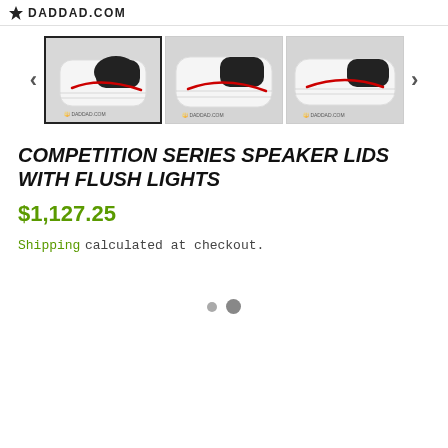DADDAD.COM
[Figure (photo): Three product thumbnail photos of Competition Series Speaker Lids with Flush Lights — white molded plastic lids with black speaker grille and red accent stripe. First thumbnail is selected/highlighted.]
COMPETITION SERIES SPEAKER LIDS WITH FLUSH LIGHTS
$1,127.25
Shipping calculated at checkout.